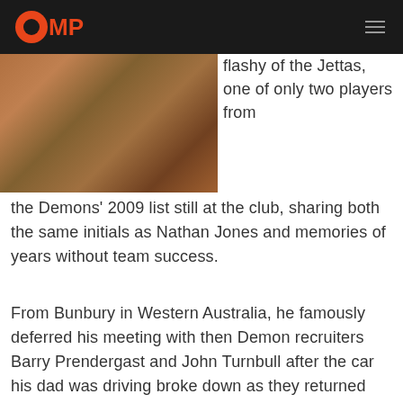OMP
[Figure (photo): An Australian rules football player kicking a ball, wearing a dark Melbourne Demons uniform. Action shot with crowd in background.]
flashy of the Jettas, one of only two players from the Demons' 2009 list still at the club, sharing both the same initials as Nathan Jones and memories of years without team success.
From Bunbury in Western Australia, he famously deferred his meeting with then Demon recruiters Barry Prendergast and John Turnbull after the car his dad was driving broke down as they returned from a roo hunt.